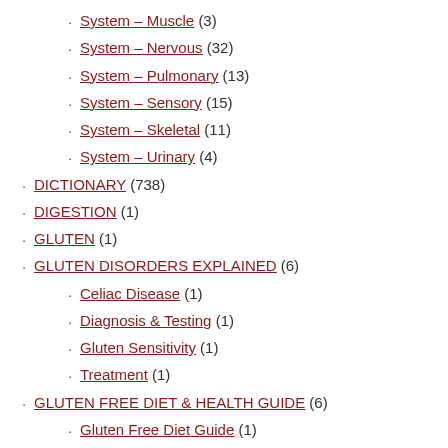System – Muscle (3)
System – Nervous (32)
System – Pulmonary (13)
System – Sensory (15)
System – Skeletal (11)
System – Urinary (4)
DICTIONARY (738)
DIGESTION (1)
GLUTEN (1)
GLUTEN DISORDERS EXPLAINED (6)
Celiac Disease (1)
Diagnosis & Testing (1)
Gluten Sensitivity (1)
Treatment (1)
GLUTEN FREE DIET & HEALTH GUIDE (6)
Gluten Free Diet Guide (1)
NUTRIENT DEFICIENCIES (27)
NUTRIENT DEFICIENCY RELATED DISORDERS (225)
Antioxidant (3)